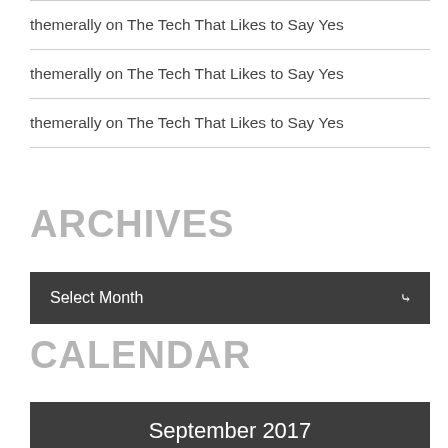themerally on The Tech That Likes to Say Yes
themerally on The Tech That Likes to Say Yes
themerally on The Tech That Likes to Say Yes
ARCHIVES
[Figure (screenshot): Dropdown select box with label 'Select Month' and a chevron arrow, dark background]
CALENDAR
[Figure (screenshot): Calendar header bar showing 'September 2017' on dark background]